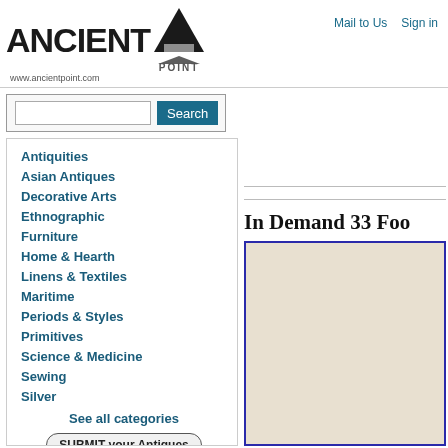[Figure (logo): AncientPoint logo with triangle graphic and www.ancientpoint.com URL]
Mail to Us   Sign in
[Figure (screenshot): Search bar with text input and Search button]
Antiquities
Asian Antiques
Decorative Arts
Ethnographic
Furniture
Home & Hearth
Linens & Textiles
Maritime
Periods & Styles
Primitives
Science & Medicine
Sewing
Silver
See all categories
SUBMIT your Antiques
Science & Medicine (Pre-1920)
In Demand 33 Foo…